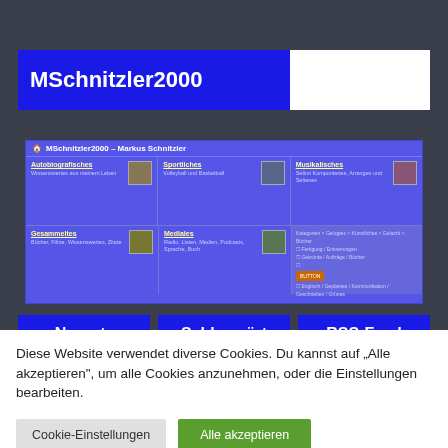[Figure (screenshot): MSchnitzler2000 website header with blue banner showing site name]
[Figure (screenshot): Screenshot of MSchnitzler2000 - Markus Schnitzler website with navigation grid showing Autobiografisches, Sportliches, Musikalisches, Gesammeltes, Mediales sections on blue background]
[Figure (screenshot): Partially visible bottom navigation bar with blue buttons: Neueste, Schlagwört, RSS-Feed]
Diese Website verwendet diverse Cookies. Du kannst auf "Alle akzeptieren", um alle Cookies anzunehmen, oder die Einstellungen bearbeiten.
Cookie-Einstellungen
Alle akzeptieren